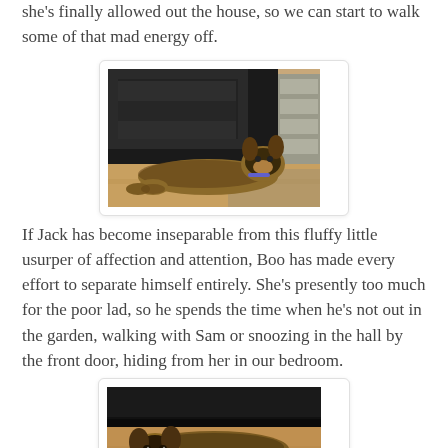she's finally allowed out the house, so we can start to walk some of that mad energy off.
[Figure (photo): German Shepherd puppy lying stretched out on a wooden floor in front of a black leather sofa, with a metal shelving unit visible in the background.]
If Jack has become inseparable from this fluffy little usurper of affection and attention, Boo has made every effort to separate himself entirely. She's presently too much for the poor lad, so he spends the time when he's not out in the garden, walking with Sam or snoozing in the hall by the front door, hiding from her in our bedroom.
[Figure (photo): German Shepherd puppy lying flat under a black leather sofa on a wooden floor, looking at the camera.]